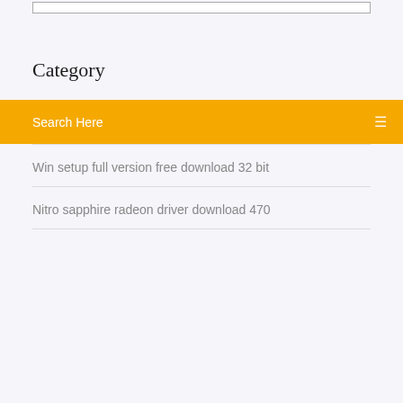[Figure (screenshot): Partial top box/input field border visible at top of page]
Category
Search Here
Win setup full version free download 32 bit
Nitro sapphire radeon driver download 470